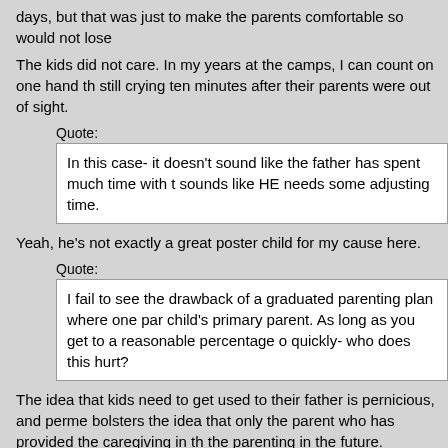days, but that was just to make the parents comfortable so would not lose
The kids did not care. In my years at the camps, I can count on one hand th still crying ten minutes after their parents were out of sight.
Quote: In this case- it doesn't sound like the father has spent much time with t sounds like HE needs some adjusting time.
Yeah, he's not exactly a great poster child for my cause here.
Quote: I fail to see the drawback of a graduated parenting plan where one par child's primary parent. As long as you get to a reasonable percentage o quickly- who does this hurt?
The idea that kids need to get used to their father is pernicious, and perme bolsters the idea that only the parent who has provided the caregiving in th the parenting in the future.
If quickly is "within a month", then I'm game. That said, the proper amount i hospitals give new parents to get used to their kid before discharging them'
Hint: That time is measured in hours to days, not weeks or months.